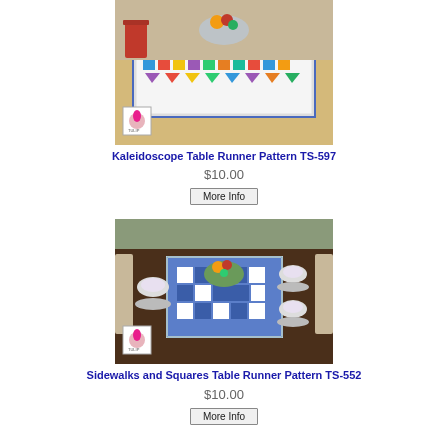[Figure (photo): Colorful kaleidoscope quilt table runner with triangles and squares in multiple bright colors on a white table, with a bowl of fruit and red cup in background. Tulip Squares logo badge in lower left corner.]
Kaleidoscope Table Runner Pattern TS-597
$10.00
More Info
[Figure (photo): Blue and white checkered/sidewalk pattern quilt table runner on a dark wood dining table set with teacups and saucers, with a bowl of fruit in the center. Tulip Squares logo badge in lower left corner.]
Sidewalks and Squares Table Runner Pattern TS-552
$10.00
More Info